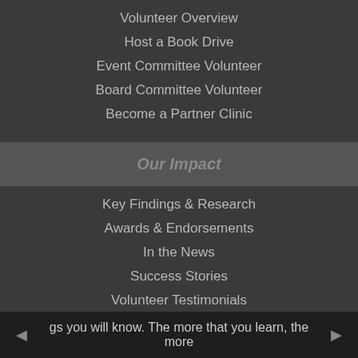Volunteer Overview
Host a Book Drive
Event Committee Volunteer
Board Committee Volunteer
Become a Partner Clinic
Our Impact
Key Findings & Research
Awards & Endorsements
In the News
Success Stories
Volunteer Testimonials
Grants and Foundation Support
gs you will know. The more that you learn, the more